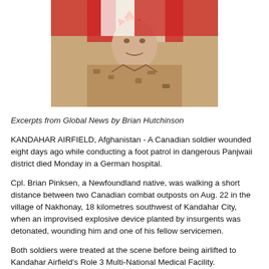[Figure (photo): Portrait photo of a Canadian soldier in desert camouflage uniform, with a Canadian flag visible in the background]
Excerpts from Global News by Brian Hutchinson
KANDAHAR AIRFIELD, Afghanistan - A Canadian soldier wounded eight days ago while conducting a foot patrol in dangerous Panjwaii district died Monday in a German hospital.
Cpl. Brian Pinksen, a Newfoundland native, was walking a short distance between two Canadian combat outposts on Aug. 22 in the village of Nakhonay, 18 kilometres southwest of Kandahar City, when an improvised explosive device planted by insurgents was detonated, wounding him and one of his fellow servicemen.
Both soldiers were treated at the scene before being airlifted to Kandahar Airfield's Role 3 Multi-National Medical Facility.